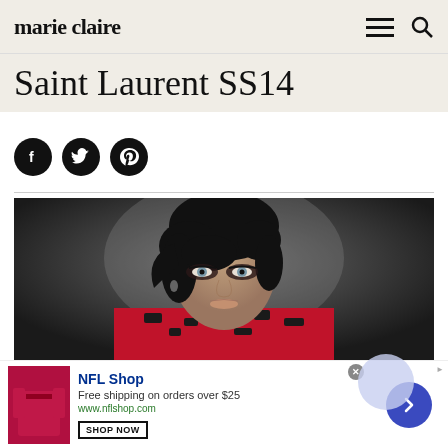marie claire
Saint Laurent SS14
[Figure (infographic): Three black circular social media share buttons: Facebook (f), Twitter (bird), Pinterest (P)]
[Figure (photo): Close-up runway photo of a female model with short dark hair, dramatic eye makeup, wearing a red and black patterned jacket, against a dark blurred background. Saint Laurent SS14 fashion show.]
[Figure (infographic): NFL Shop advertisement banner: red football-shaped product image on left, NFL Shop logo and text 'Free shipping on orders over $25', 'www.nflshop.com', 'SHOP NOW' button, and a circular arrow/carousel button on the right.]